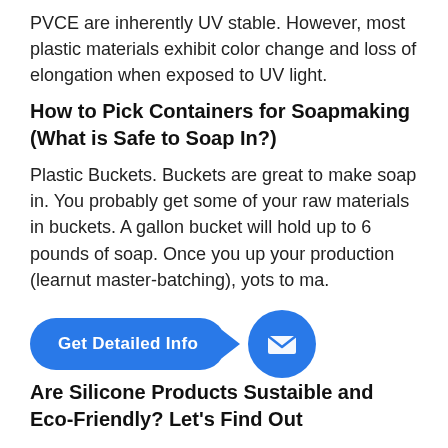PVCE are inherently UV stable. However, most plastic materials exhibit color change and loss of elongation when exposed to UV light.
How to Pick Containers for Soapmaking (What is Safe to Soap In?)
Plastic Buckets. Buckets are great to make soap in. You probably get some of your raw materials in buckets. A gallon bucket will hold up to 6 pounds of soap. Once you up your production (learn about master-batching), you'll want to move to larger pots to ma.
[Figure (other): A blue pill-shaped button with arrow saying 'Get Detailed Info' and a blue circular mail/envelope icon button]
Are Silicone Products Sustaible and Eco-Friendly? Let's Find Out
This is because they are more durable than plastic and better for the environment. On its own, however, silicone does have important pros and cons to consider. It's not easy to replace plastic.